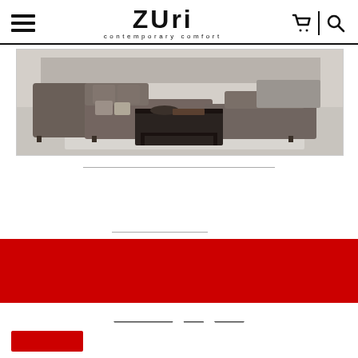Zuri contemporary comfort — navigation header with hamburger menu, cart, and search icons
[Figure (photo): A modern living room sectional sofa in dark brown/taupe color with a dark coffee table, decorative pillows and items on white/light grey rug background]
[Figure (other): Horizontal separator line]
[Figure (other): Short horizontal separator line]
[Figure (other): Red banner/promotional block]
[Figure (other): Pagination links row with underlined links]
[Figure (other): Red button at bottom left]